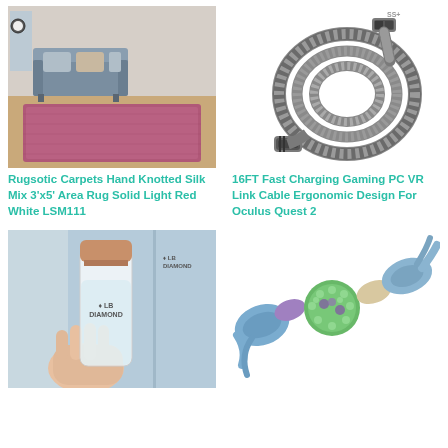[Figure (photo): Pink/red area rug shown in a living room setting with a grey sofa]
[Figure (photo): Grey braided USB-C VR link cable coiled up with angled connector]
Rugsotic Carpets Hand Knotted Silk Mix 3'x5' Area Rug Solid Light Red White LSM111
16FT Fast Charging Gaming PC VR Link Cable Ergonomic Design For Oculus Quest 2
[Figure (photo): LB Diamond branded clear glass water bottle with rose gold cap being held by hand]
[Figure (photo): Colorful dog chew toy with rubber spiky ball and fabric knots in blue, purple, green]